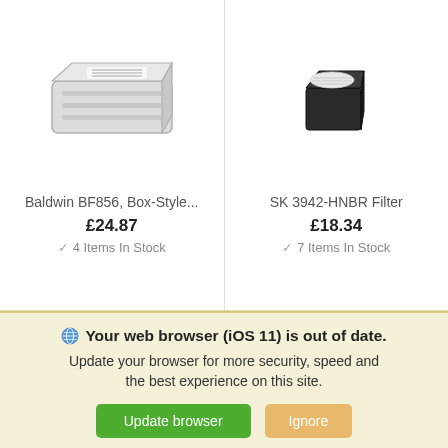[Figure (photo): White/grey rectangular box-style filter product (Baldwin BF856)]
Baldwin BF856, Box-Style...
£24.87
✓ 4 Items In Stock
[Figure (photo): Small dark square filter product (SK 3942-HNBR Filter)]
SK 3942-HNBR Filter
£18.34
✓ 7 Items In Stock
Your web browser (iOS 11) is out of date. Update your browser for more security, speed and the best experience on this site.